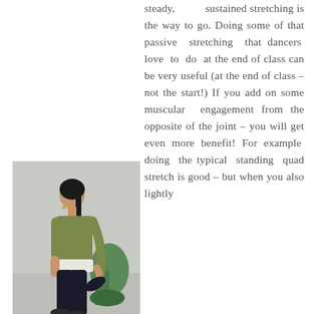[Figure (photo): A woman standing in profile view performing a standing quad stretch, wearing a green top and black pants, holding her foot behind her. A green chair is visible in the background.]
steady, sustained stretching is the way to go. Doing some of that passive stretching that dancers love to do at the end of class can be very useful (at the end of class – not the start!) If you add on some muscular engagement from the opposite of the joint – you will get even more benefit! For example doing the typical standing quad stretch is good – but when you also lightly